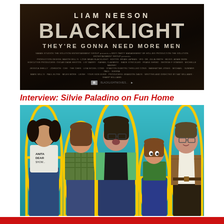[Figure (photo): Movie poster for Blacklight featuring Liam Neeson. Dark background with text: LIAM NEESON, BLACKLIGHT, THEY'RE GONNA NEED MORE MEN, followed by small production credits text.]
Interview: Silvie Paladino on Fun Home
[Figure (photo): Promotional photo for Fun Home musical production. Five cast members stand against a teal/turquoise background, each outlined with a yellow border. From left: a woman with curly hair wearing a white top and blue jeans; a shorter young woman in plaid shirt; a central taller woman in glasses and green jacket over black top; a young girl in green shirt and denim overalls; and a man in brown jacket and white turtleneck. The cast appears to represent different ages of the same character and family members.]